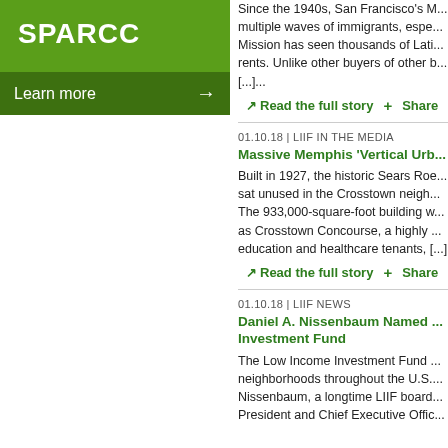[Figure (logo): SPARCC logo box with green background and Learn more button]
Since the 1940s, San Francisco's Mission has seen multiple waves of immigrants, espe... Mission has seen thousands of Lati... rents. Unlike other buyers of other b... [...]...
Read the full story + Share
01.10.18 | LIIF IN THE MEDIA
Massive Memphis 'Vertical Urb...
Built in 1927, the historic Sears Roe... sat unused in the Crosstown neigh... The 933,000-square-foot building w... as Crosstown Concourse, a highly ... education and healthcare tenants, [...
Read the full story + Share
01.10.18 | LIIF NEWS
Daniel A. Nissenbaum Named ... Investment Fund
The Low Income Investment Fund ... neighborhoods throughout the U.S.... Nissenbaum, a longtime LIIF board... President and Chief Executive Offic...